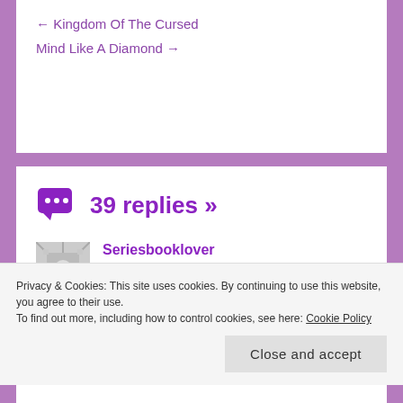← Kingdom Of The Cursed
Mind Like A Diamond →
39 replies »
Seriesbooklover
December 28, 2021 at 3:16 am
I like the look of Capture the Crown.
Privacy & Cookies: This site uses cookies. By continuing to use this website, you agree to their use.
To find out more, including how to control cookies, see here: Cookie Policy
Close and accept
REPLY